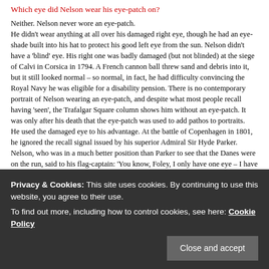Which eye did Nelson wear his eye-patch on?
Neither. Nelson never wore an eye-patch.
He didn't wear anything at all over his damaged right eye, though he had an eye-shade built into his hat to protect his good left eye from the sun. Nelson didn't have a 'blind' eye. His right one was badly damaged (but not blinded) at the siege of Calvi in Corsica in 1794. A French cannon ball threw sand and debris into it, but it still looked normal – so normal, in fact, he had difficulty convincing the Royal Navy he was eligible for a disability pension. There is no contemporary portrait of Nelson wearing an eye-patch, and despite what most people recall having 'seen', the Trafalgar Square column shows him without an eye-patch. It was only after his death that the eye-patch was used to add pathos to portraits.
He used the damaged eye to his advantage. At the battle of Copenhagen in 1801, he ignored the recall signal issued by his superior Admiral Sir Hyde Parker. Nelson, who was in a much better position than Parker to see that the Danes were on the run, said to his flag-captain: 'You know, Foley, I only have one eye – I have the right to be blind sometimes.'
He then held his telescope to his blind eye and said: 'I really do not see the signal.' This is usually misquoted as, 'I see no ships.' Nelson was a brilliant...
Nelson began an affair with Lady Emma Hamilton, wife of the British
Privacy & Cookies: This site uses cookies. By continuing to use this website, you agree to their use.
To find out more, including how to control cookies, see here: Cookie Policy